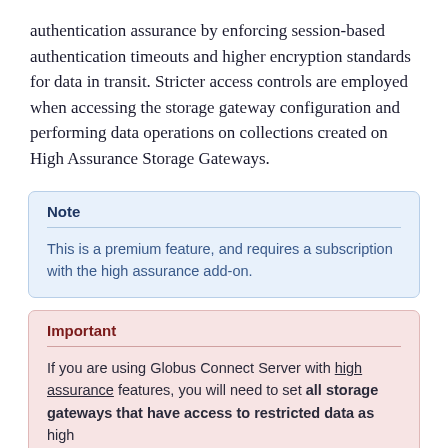authentication assurance by enforcing session-based authentication timeouts and higher encryption standards for data in transit. Stricter access controls are employed when accessing the storage gateway configuration and performing data operations on collections created on High Assurance Storage Gateways.
Note
This is a premium feature, and requires a subscription with the high assurance add-on.
Important
If you are using Globus Connect Server with high assurance features, you will need to set all storage gateways that have access to restricted data as high...